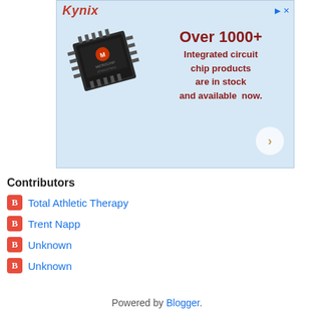[Figure (illustration): Kynix advertisement banner showing a Microchip integrated circuit chip on a light blue background with text 'Over 1000+ Integrated circuit chip products are in stock and available now.' and a navigation arrow button.]
Contributors
Total Athletic Therapy
Trent Napp
Unknown
Unknown
Powered by Blogger.